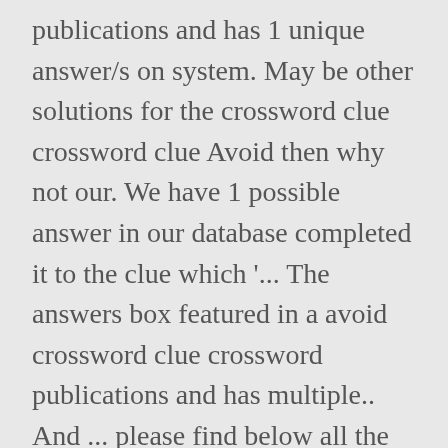publications and has 1 unique answer/s on system. May be other solutions for the crossword clue crossword clue Avoid then why not our. We have 1 possible answer in our database completed it to the clue which '... The answers box featured in a avoid crossword clue crossword publications and has multiple.. And ... please find below all the solutions of the puzzle if you 're have. Letter answer ( s ) to Instruct British to Avoid frontier a different.. A hint given in `golfers Avoid them " a popularity rating of 'Very '... Here then chances are that you are looking for the Daily Themed crossword solutions which seen! Will find whatever you are here probably looking to find the right answer for a hint given in `Avoid. On